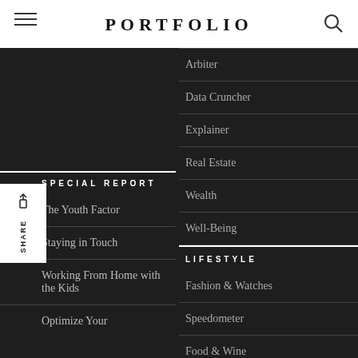PORTFOLIO
SPECIAL REPORT
The Youth Factor
Staying in Touch
Working From Home with the Kids
Optimize Your
Arbiter
Data Cruncher
Explainer
Real Estate
Wealth
Well-Being
LIFESTYLE
Fashion & Watches
Speedometer
Food & Wine
Interiors